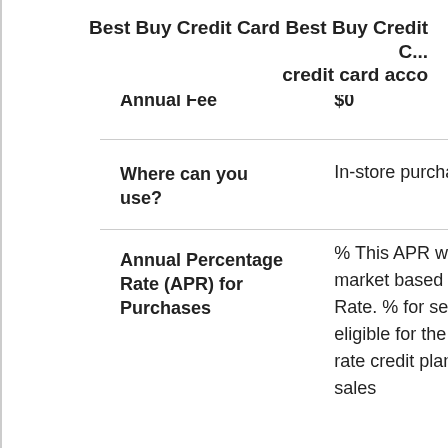| Fees | My Best Buy Credit Card |
| --- | --- |
| Annual Fee | $0 |
| Where can you use? | In-store purchases only |
| Annual Percentage Rate (APR) for Purchases | % This APR will vary with the market based on the Prime Rate. % for select purchases eligible for the month reduced rate credit plan (The store sales |